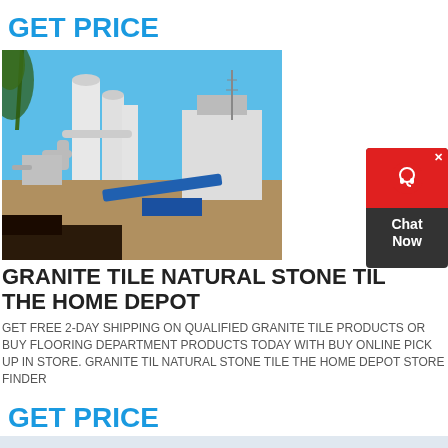GET PRICE
[Figure (photo): Industrial grinding/milling plant with white cylindrical towers, pipes, and blue conveyor equipment under a clear blue sky]
[Figure (other): Chat Now widget with red top section featuring a headset icon and dark body]
GRANITE TILE NATURAL STONE TILE THE HOME DEPOT
GET FREE 2-DAY SHIPPING ON QUALIFIED GRANITE TILE PRODUCTS OR BUY FLOORING DEPARTMENT PRODUCTS TODAY WITH BUY ONLINE PICK UP IN STORE. GRANITE TILE NATURAL STONE TILE THE HOME DEPOT STORE FINDER
GET PRICE